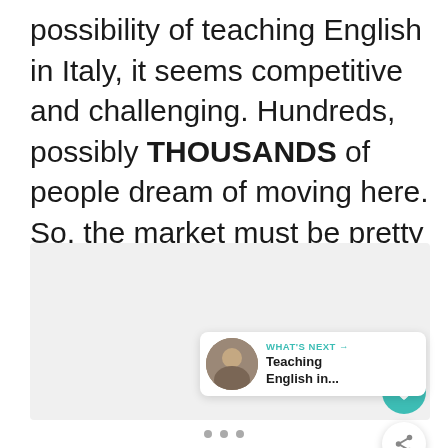possibility of teaching English in Italy, it seems competitive and challenging. Hundreds, possibly THOUSANDS of people dream of moving here. So, the market must be pretty competitive, right?
[Figure (photo): A light gray placeholder image area occupying the lower portion of the page, with UI overlay elements including a teal heart/favorite button, a white share button, a 'WHAT'S NEXT' card showing a thumbnail and 'Teaching English in...' text, and navigation dots at the bottom.]